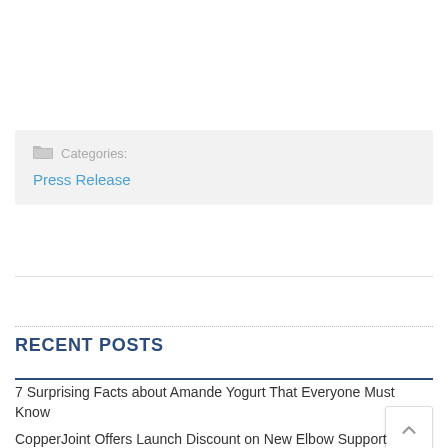Categories: Press Release
RECENT POSTS
7 Surprising Facts about Amande Yogurt That Everyone Must Know
CopperJoint Offers Launch Discount on New Elbow Support